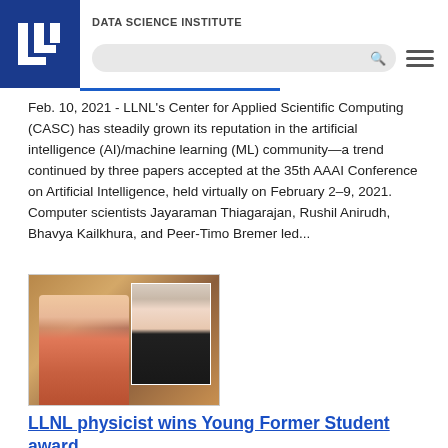DATA SCIENCE INSTITUTE
Feb. 10, 2021 - LLNL's Center for Applied Scientific Computing (CASC) has steadily grown its reputation in the artificial intelligence (AI)/machine learning (ML) community—a trend continued by three papers accepted at the 35th AAAI Conference on Artificial Intelligence, held virtually on February 2–9, 2021. Computer scientists Jayaraman Thiagarajan, Rushil Anirudh, Bhavya Kailkhura, and Peer-Timo Bremer led...
[Figure (photo): Composite photo: woman with a horse outdoors (background) and an inset portrait photo of a woman in a dark blazer]
LLNL physicist wins Young Former Student award